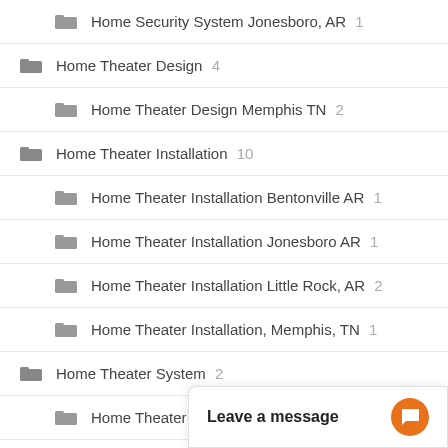Home Security System Jonesboro, AR 1
Home Theater Design 4
Home Theater Design Memphis TN 2
Home Theater Installation 10
Home Theater Installation Bentonville AR 1
Home Theater Installation Jonesboro AR 1
Home Theater Installation Little Rock, AR 2
Home Theater Installation, Memphis, TN 1
Home Theater System 2
Home Theater System Rogers AR 1
Human Centric Lig…
Human Centric…
Leave a message